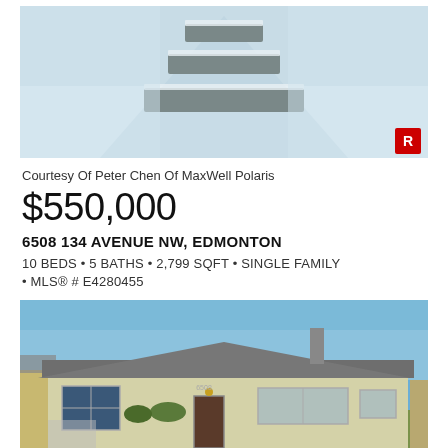[Figure (photo): Winter outdoor photo showing snow-covered steps/walkway leading toward a property, viewed from above]
Courtesy Of Peter Chen Of MaxWell Polaris
$550,000
6508 134 AVENUE NW, EDMONTON
10 BEDS • 5 BATHS • 2,799 SQFT • SINGLE FAMILY • MLS® # E4280455
[Figure (photo): Exterior photo of a single-family bungalow house with light yellow siding, grey roof, blue sky background, and landscaped yard]